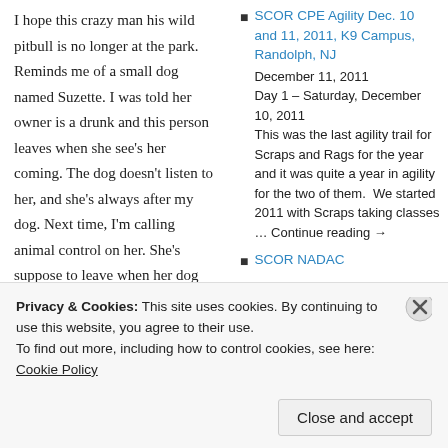I hope this crazy man his wild pitbull is no longer at the park. Reminds me of a small dog named Suzette. I was told her owner is a drunk and this person leaves when she see's her coming. The dog doesn't listen to her, and she's always after my dog. Next time, I'm calling animal control on her. She's suppose to leave when her dog acts up. She just calls her name and makes excuses.
SCOR CPE Agility Dec. 10 and 11, 2011, K9 Campus, Randolph, NJ — December 11, 2011 Day 1 – Saturday, December 10, 2011 This was the last agility trail for Scraps and Rags for the year and it was quite a year in agility for the two of them. We started 2011 with Scraps taking classes … Continue reading →
SCOR NADAC
Privacy & Cookies: This site uses cookies. By continuing to use this website, you agree to their use.
To find out more, including how to control cookies, see here: Cookie Policy
Close and accept